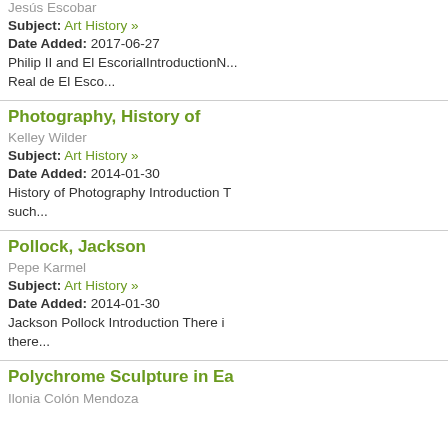Jesus Escobar
Subject: Art History »
Date Added: 2017-06-27
Philip II and El EscorialIntroductionN... Real de El Esco...
Photography, History of
Kelley Wilder
Subject: Art History »
Date Added: 2014-01-30
History of Photography Introduction T such...
Pollock, Jackson
Pepe Karmel
Subject: Art History »
Date Added: 2014-01-30
Jackson Pollock Introduction There i there...
Polychrome Sculpture in Ea
Ilonia Colón Mendoza